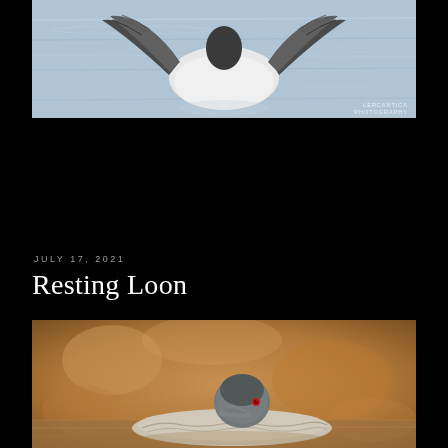[Figure (photo): A loon or waterbird with wings spread on blue water, photographed from behind showing white underside and dark wings. Watermark reads 'LERCANTICA PHOTOGRAPHY'.]
JULY 17, 2021
Resting Loon
[Figure (photo): A resting loon floating on warm golden-brown water, head tucked down showing grey and white plumage with red eye visible.]